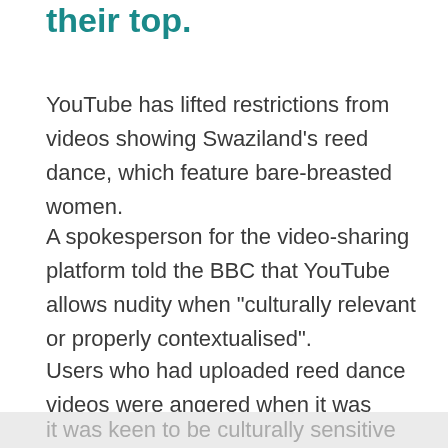their top.
YouTube has lifted restrictions from videos showing Swaziland's reed dance, which feature bare-breasted women.
A spokesperson for the video-sharing platform told the BBC that YouTube allows nudity when “culturally relevant or properly contextualised”.
Users who had uploaded reed dance videos were angered when it was classified as age-restricted content.
YouTube has denied accusations of racism, saying it was keen to be culturally sensitive